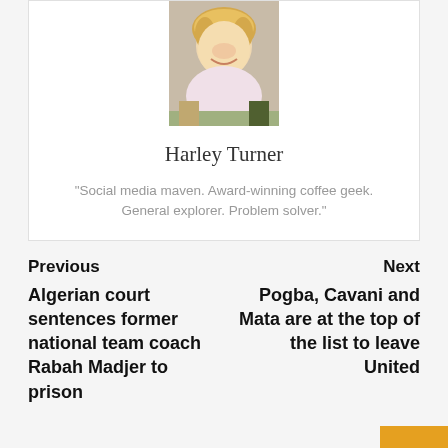[Figure (photo): Profile photo of Harley Turner, a woman with blonde curly hair, smiling, wearing a pink shirt]
Harley Turner
“Social media maven. Award-winning coffee geek. General explorer. Problem solver.”
Previous
Algerian court sentences former national team coach Rabah Madjer to prison
Next
Pogba, Cavani and Mata are at the top of the list to leave United
Leave a Reply